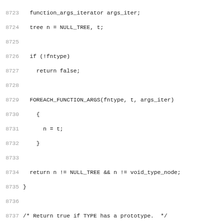[Figure (other): Source code listing lines 8723-8754 showing C functions related to function argument iteration and prototype checking]